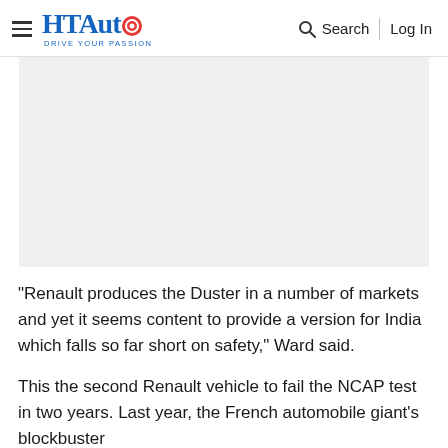HT Auto — Drive Your Passion | Search | Log In
[Figure (photo): Gray placeholder image area representing a vehicle photo]
"Renault produces the Duster in a number of markets and yet it seems content to provide a version for India which falls so far short on safety," Ward said.
This the second Renault vehicle to fail the NCAP test in two years. Last year, the French automobile giant's blockbuster